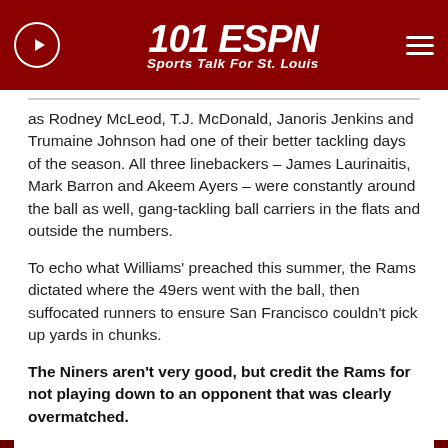[Figure (logo): 101 ESPN Sports Talk For St. Louis logo with play button icon and hamburger menu on dark red background]
as Rodney McLeod, T.J. McDonald, Janoris Jenkins and Trumaine Johnson had one of their better tackling days of the season. All three linebackers – James Laurinaitis, Mark Barron and Akeem Ayers – were constantly around the ball as well, gang-tackling ball carriers in the flats and outside the numbers.
To echo what Williams' preached this summer, the Rams dictated where the 49ers went with the ball, then suffocated runners to ensure San Francisco couldn't pick up yards in chunks.
The Niners aren't very good, but credit the Rams for not playing down to an opponent that was clearly overmatched.